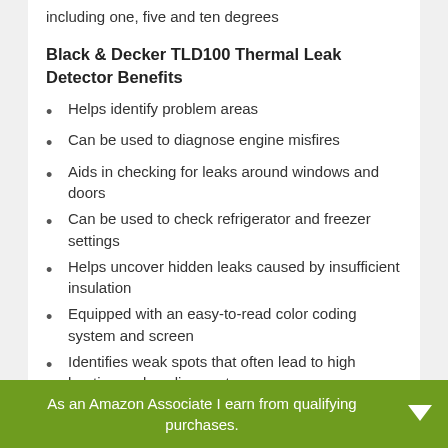including one, five and ten degrees
Black & Decker TLD100 Thermal Leak Detector Benefits
Helps identify problem areas
Can be used to diagnose engine misfires
Aids in checking for leaks around windows and doors
Can be used to check refrigerator and freezer settings
Helps uncover hidden leaks caused by insufficient insulation
Equipped with an easy-to-read color coding system and screen
Identifies weak spots that often lead to high heating and cooling costs
As an Amazon Associate I earn from qualifying purchases.